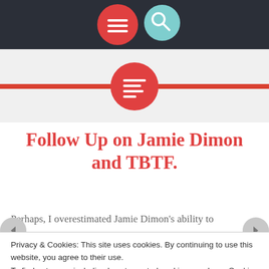[Figure (screenshot): Top navigation bar with dark background, red hamburger menu circle button and teal search circle button]
[Figure (logo): Red circle with text/list icon centered on a red horizontal rule over a light gray background]
Follow Up on Jamie Dimon and TBTF.
Perhaps, I overestimated Jamie Dimon’s ability to
Privacy & Cookies: This site uses cookies. By continuing to use this website, you agree to their use.
To find out more, including how to control cookies, see here: Cookie Policy
Close and accept
This i...